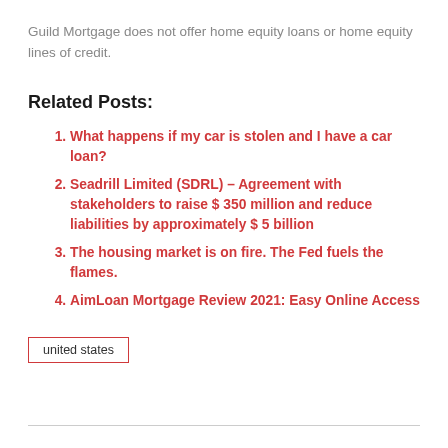Guild Mortgage does not offer home equity loans or home equity lines of credit.
Related Posts:
What happens if my car is stolen and I have a car loan?
Seadrill Limited (SDRL) – Agreement with stakeholders to raise $ 350 million and reduce liabilities by approximately $ 5 billion
The housing market is on fire. The Fed fuels the flames.
AimLoan Mortgage Review 2021: Easy Online Access
united states